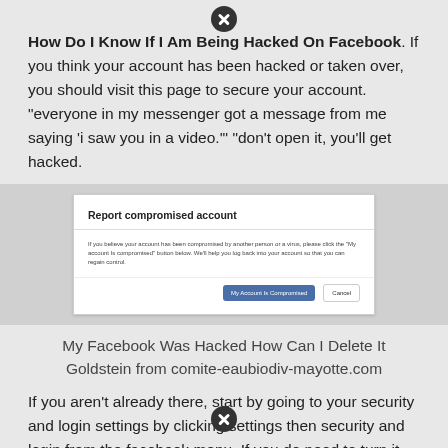How Do I Know If I Am Being Hacked On Facebook. If you think your account has been hacked or taken over, you should visit this page to secure your account. "everyone in my messenger got a message from me saying 'i saw you in a video.'" "don't open it, you'll get hacked.
[Figure (screenshot): Screenshot of Facebook 'Report compromised account' dialog with a button labeled 'My Account Is Compromised' and a 'Cancel' button.]
My Facebook Was Hacked How Can I Delete It Goldstein from comite-eaubiodiv-mayotte.com
If you aren't already there, start by going to your security and login settings by clicking settings then security and login from the facebook menu. If you do need to turn it on, make sure you've made the settings as secure as possible: